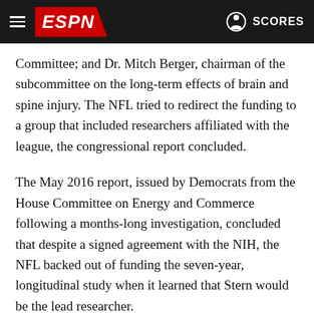ESPN — SCORES
Committee; and Dr. Mitch Berger, chairman of the subcommittee on the long-term effects of brain and spine injury. The NFL tried to redirect the funding to a group that included researchers affiliated with the league, the congressional report concluded.
The May 2016 report, issued by Democrats from the House Committee on Energy and Commerce following a months-long investigation, concluded that despite a signed agreement with the NIH, the NFL backed out of funding the seven-year, longitudinal study when it learned that Stern would be the lead researcher.
In public statements and written responses to the committee, the NFL repeatedly denied it withheld funding but argued that the NIH selection process was tainted by Stern's bias and a conflict of interest involving its own views. The league appointed a